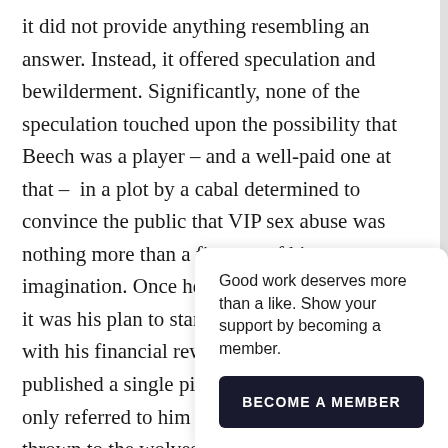it did not provide anything resembling an answer. Instead, it offered speculation and bewilderment. Significantly, none of the speculation touched upon the possibility that Beech was a player – and a well-paid one at that –  in a plot by a cabal determined to convince the public that VIP sex abuse was nothing more than a figment of his imagination. Once he had achieved his goal, it was his plan to start a new life in Sweden with his financial rewards. The media had not published a single picture of his face and had only referred to him as 'Nick'. Then he was thrown to the wolves by ... sent to pr... was part o... abuse, his...
Good work deserves more than a like. Show your support by becoming a member.
BECOME A MEMBER